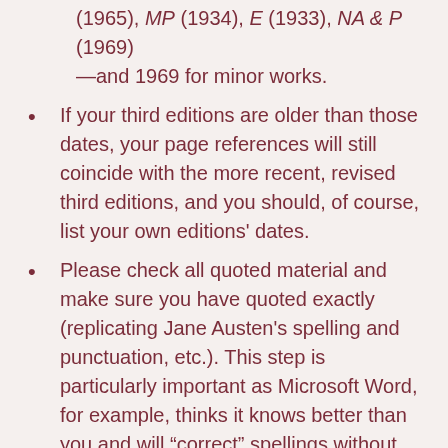(1965), MP (1934), E (1933), NA & P (1969) —and 1969 for minor works.
If your third editions are older than those dates, your page references will still coincide with the more recent, revised third editions, and you should, of course, list your own editions' dates.
Please check all quoted material and make sure you have quoted exactly (replicating Jane Austen's spelling and punctuation, etc.). This step is particularly important as Microsoft Word, for example, thinks it knows better than you and will “correct” spellings without notice!
“Love and Freindship”: retain misspelling.